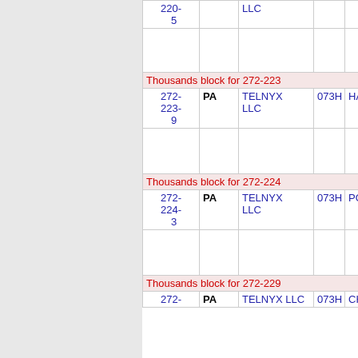| NXX | State | Company | OCN | City |
| --- | --- | --- | --- | --- |
| 220-5 |  | LLC |  |  |
| Thousands block for 272-223 |  |  |  |  |
| 272-223-9 | PA | TELNYX LLC | 073H | HAZLETON |
| Thousands block for 272-224 |  |  |  |  |
| 272-224-3 | PA | TELNYX LLC | 073H | POTTSVILLE |
| Thousands block for 272-229 |  |  |  |  |
| 272- | PA | TELNYX LLC | 073H | CHAPMAN |